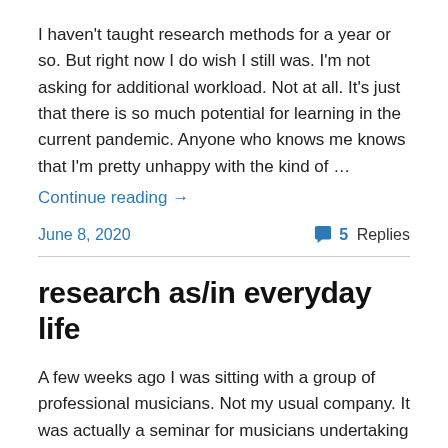I haven't taught research methods for a year or so. But right now I do wish I still was. I'm not asking for additional workload. Not at all. It's just that there is so much potential for learning in the current pandemic. Anyone who knows me knows that I'm pretty unhappy with the kind of …
Continue reading →
June 8, 2020
5 Replies
research as/in everyday life
A few weeks ago I was sitting with a group of professional musicians. Not my usual company. It was actually a seminar for musicians undertaking practice based PhDs, and I'd been invited to talk, along with @minxmarple, by @annscottpiano. My focus was on academic writing. So